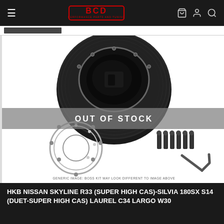BCD Performance Parts and Tuning
[Figure (photo): Product photo of HKB steering wheel boss kit/hub adapter shown from above (black cylindrical boss kit), and below showing a silver ring adapter, screws, and hex key. Banner overlay reads OUT OF STOCK. Caption: GENERIC IMAGE: BOSS KIT MAY LOOK DIFFERENT TO IMAGE ABOVE]
HKB NISSAN SKYLINE R33 (SUPER HIGH CAS)-SILVIA 180SX S14 (DUET-SUPER HIGH CAS) LAUREL C34 LARGO W30